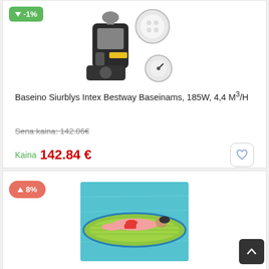[Figure (photo): Product image of a pool pump - Intex Bestway pool filter pump showing the unit and cartridge components]
-1%
Baseino Siurblys Intex Bestway Baseinams, 185W, 4,4 M³/H
Sena kaina: 142.06€
Kaina  142.84 €
8%
[Figure (photo): Person lying on a green inflatable pool float/mattress in a swimming pool]